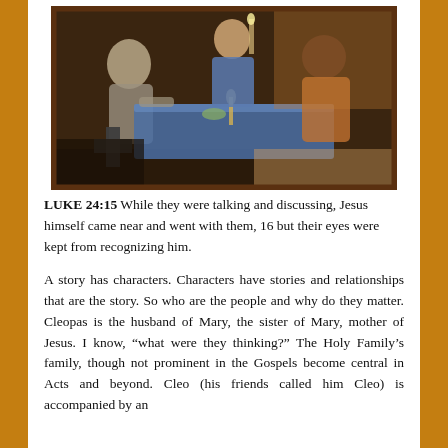[Figure (illustration): A painting depicting a dinner scene with multiple figures seated around a table. The painting has a dark frame and shows figures in muted earth tones with a blue tablecloth. A cross shape is visible in the lower left area of the painting.]
LUKE 24:15 While they were talking and discussing, Jesus himself came near and went with them, 16 but their eyes were kept from recognizing him.
A story has characters. Characters have stories and relationships that are the story. So who are the people and why do they matter. Cleopas is the husband of Mary, the sister of Mary, mother of Jesus. I know, “what were they thinking?” The Holy Family’s family, though not prominent in the Gospels become central in Acts and beyond. Cleo (his friends called him Cleo) is accompanied by an